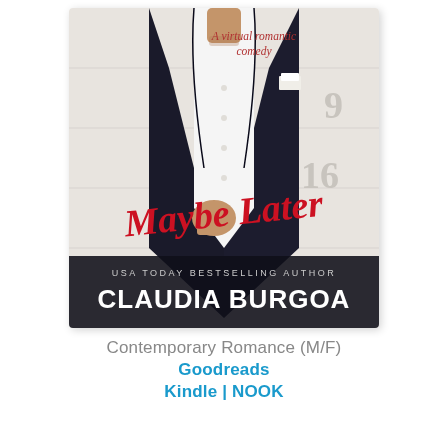[Figure (illustration): Book cover for 'Maybe Later' by Claudia Burgoa. A man in a black suit with a white dress shirt holds his jacket closed. In the upper right area text reads 'A virtual romantic comedy'. The title 'Maybe Later' is written in large red script across the lower center of the image. Below that: 'USA TODAY BESTSELLING AUTHOR' in small caps and 'CLAUDIA BURGOA' in large bold white letters. Background appears to be a calendar.]
Contemporary Romance (M/F)
Goodreads
Kindle | NOOK